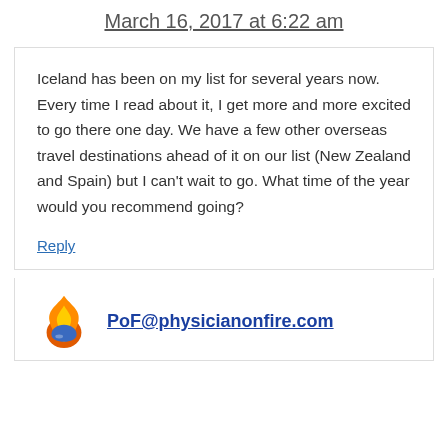March 16, 2017 at 6:22 am
Iceland has been on my list for several years now. Every time I read about it, I get more and more excited to go there one day. We have a few other overseas travel destinations ahead of it on our list (New Zealand and Spain) but I can't wait to go. What time of the year would you recommend going?
Reply
PoF@physicianonfire.com